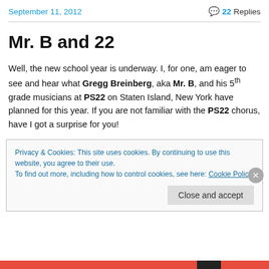September 11, 2012 | 22 Replies
Mr. B and 22
Well, the new school year is underway. I, for one, am eager to see and hear what Gregg Breinberg, aka Mr. B, and his 5th grade musicians at PS22 on Staten Island, New York have planned for this year. If you are not familiar with the PS22 chorus, have I got a surprise for you!
Privacy & Cookies: This site uses cookies. By continuing to use this website, you agree to their use. To find out more, including how to control cookies, see here: Cookie Policy